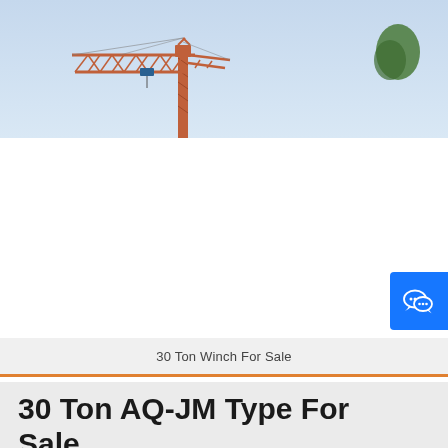[Figure (photo): Tower crane against a light blue sky with a tree visible in the upper right. The crane has a red/orange lattice boom extending horizontally to the left.]
30 Ton Winch For Sale
30 Ton AQ-JM Type For Sale